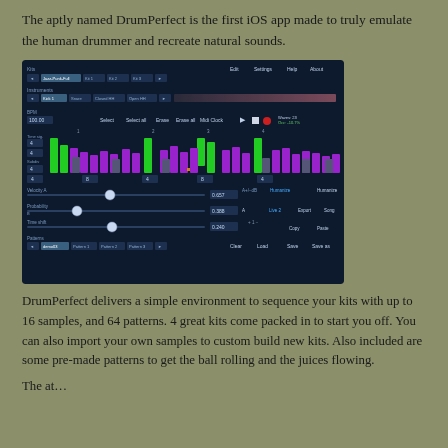The aptly named DrumPerfect is the first iOS app made to truly emulate the human drummer and recreate natural sounds.
[Figure (screenshot): Screenshot of the DrumPerfect iOS app showing the drum sequencer interface with kit selector, instrument selector, BPM controls, a grid of green and purple velocity bars, velocity/probability/time shift sliders, and pattern selector at the bottom.]
DrumPerfect delivers a simple environment to sequence your kits with up to 16 samples, and 64 patterns. 4 great kits come packed in to start you off. You can also import your own samples to custom build new kits. Also included are some pre-made patterns to get the ball rolling and the juices flowing.
The at...